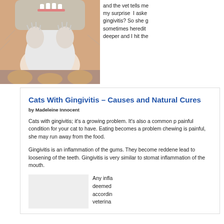[Figure (photo): Close-up photo of a person holding a small kitten showing its paws and underside with tiny teeth visible]
and the vet tells me my surprise  I asked gingivitis? So she g sometimes heredit deeper and I hit the
Cats With Gingivitis – Causes and Natural Cures
by Madeleine Innocent
Cats with gingivitis; it's a growing problem. It's also a common p painful condition for your cat to have. Eating becomes a problem chewing is painful, she may run away from the food.
Gingivitis is an inflammation of the gums. They become reddene lead to loosening of the teeth. Gingivitis is very similar to stomat inflammation of the mouth.
Any infla deemed according veterina